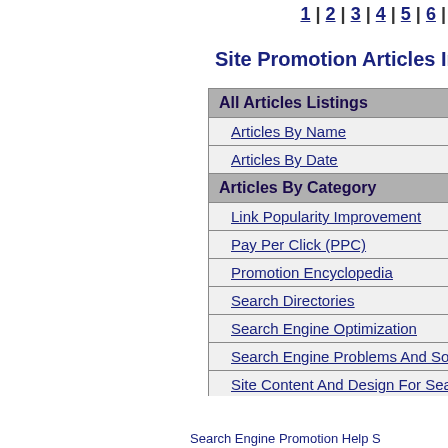1 | 2 | 3 | 4 | 5 | 6
Site Promotion Articles In
| All Articles Listings |
| Articles By Name |
| Articles By Date |
| Articles By Category |
| Link Popularity Improvement |
| Pay Per Click (PPC) |
| Promotion Encyclopedia |
| Search Directories |
| Search Engine Optimization |
| Search Engine Problems And Solutions |
| Site Content And Design For Search Eng... |
| Search Engine Specific Articles |
| Google Articles |
| Yahoo Articles |
Search Engine Promotion Help S